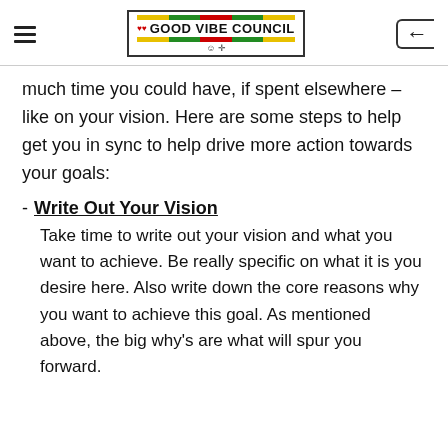GOOD VIBE COUNCIL
much time you could have, if spent elsewhere – like on your vision. Here are some steps to help get you in sync to help drive more action towards your goals:
Write Out Your Vision
Take time to write out your vision and what you want to achieve. Be really specific on what it is you desire here. Also write down the core reasons why you want to achieve this goal. As mentioned above, the big why's are what will spur you forward.